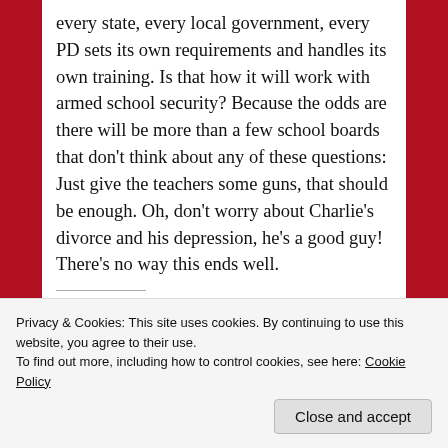every state, every local government, every PD sets its own requirements and handles its own training. Is that how it will work with armed school security? Because the odds are there will be more than a few school boards that don't think about any of these questions: Just give the teachers some guns, that should be enough. Oh, don't worry about Charlie's divorce and his depression, he's a good guy! There's no way this ends well.
Share this:
Privacy & Cookies: This site uses cookies. By continuing to use this website, you agree to their use.
To find out more, including how to control cookies, see here: Cookie Policy